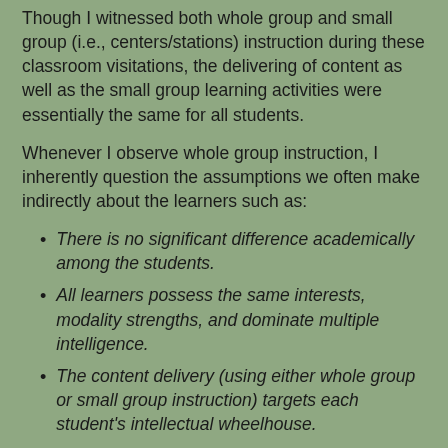Though I witnessed both whole group and small group (i.e., centers/stations) instruction during these classroom visitations, the delivering of content as well as the small group learning activities were essentially the same for all students.
Whenever I observe whole group instruction, I inherently question the assumptions we often make indirectly about the learners such as:
There is no significant difference academically among the students.
All learners possess the same interests, modality strengths, and dominate multiple intelligence.
The content delivery (using either whole group or small group instruction) targets each student's intellectual wheelhouse.
Given the limited time available for instructional planning during the school week, it would be surprising if more than 5% of current practitioners even considered any of the above assumptions. In affluent zip codes, this may not matter; but